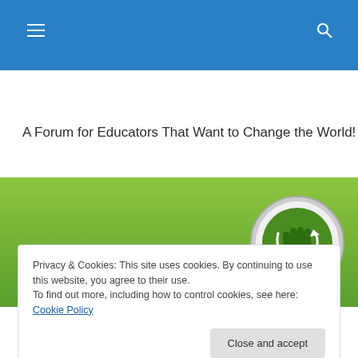A Forum for Educators That Want to Change the World!
[Figure (logo): Green banner with a circular logo showing a raised fist over a globe on the right side]
Privacy & Cookies: This site uses cookies. By continuing to use this website, you agree to their use.
To find out more, including how to control cookies, see here: Cookie Policy
Close and accept